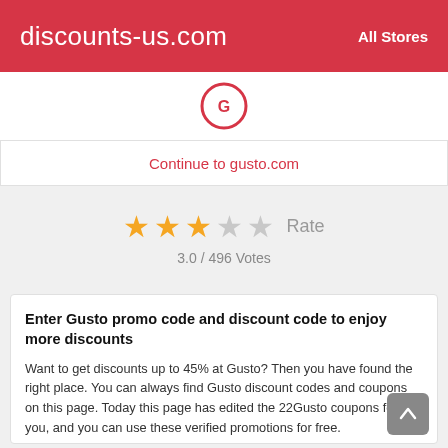discounts-us.com   All Stores
[Figure (logo): Gusto logo circle (partial, red outline)]
Continue to gusto.com
[Figure (other): Star rating: 3 filled stars, 2 empty stars, Rate label. 3.0 / 496 Votes]
Enter Gusto promo code and discount code to enjoy more discounts
Want to get discounts up to 45% at Gusto? Then you have found the right place. You can always find Gusto discount codes and coupons on this page. Today this page has edited the 22Gusto coupons for you, and you can use these verified promotions for free.
All these coupons from Gusto are available for free on discounts-us.com. Therefore, it is useful to always pay close attention to discounts-us.com's gusto.com page so that you never miss the Gusto discount again.